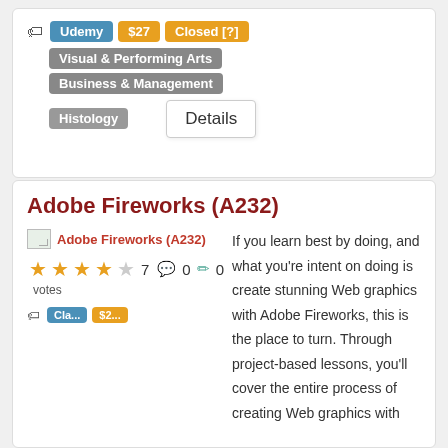Udemy | $27 | Closed [?] | Visual & Performing Arts | Business & Management | Histology
Details
Adobe Fireworks (A232)
Adobe Fireworks (A232)
If you learn best by doing, and what you're intent on doing is create stunning Web graphics with Adobe Fireworks, this is the place to turn. Through project-based lessons, you'll cover the entire process of creating Web graphics with
★★★★☆ 7 votes | 💬 0 | ✏️ 0